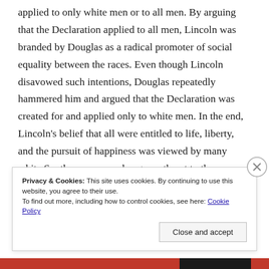applied to only white men or to all men. By arguing that the Declaration applied to all men, Lincoln was branded by Douglas as a radical promoter of social equality between the races. Even though Lincoln disavowed such intentions, Douglas repeatedly hammered him and argued that the Declaration was created for and applied only to white men. In the end, Lincoln's belief that all were entitled to life, liberty, and the pursuit of happiness was viewed by many white Southerners as such a grave threat to the institution of slavery that they were willing to tear apart the Union to protect what the state of
Privacy & Cookies: This site uses cookies. By continuing to use this website, you agree to their use.
To find out more, including how to control cookies, see here: Cookie Policy
Close and accept